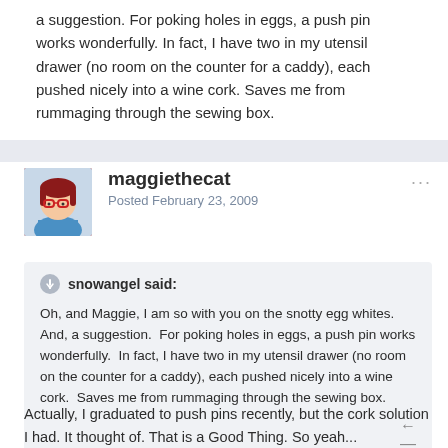a suggestion. For poking holes in eggs, a push pin works wonderfully. In fact, I have two in my utensil drawer (no room on the counter for a caddy), each pushed nicely into a wine cork. Saves me from rummaging through the sewing box.
maggiethecat
Posted February 23, 2009
snowangel said:

Oh, and Maggie, I am so with you on the snotty egg whites.  And, a suggestion.  For poking holes in eggs, a push pin works wonderfully.  In fact, I have two in my utensil drawer (no room on the counter for a caddy), each pushed nicely into a wine cork.  Saves me from rummaging through the sewing box.
Actually, I graduated to push pins recently, but the cork solution I had.  It thought of. That is a Good Thing. So yeah...